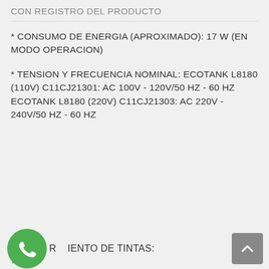CON REGISTRO DEL PRODUCTO
* CONSUMO DE ENERGIA (APROXIMADO): 17 W (EN MODO OPERACION)
* TENSION Y FRECUENCIA NOMINAL: ECOTANK L8180 (110V) C11CJ21301: AC 100V - 120V/50 HZ - 60 HZ ECOTANK L8180 (220V) C11CJ21303: AC 220V - 240V/50 HZ - 60 HZ
R...IENTO DE TINTAS:
[Figure (logo): WhatsApp green phone logo icon]